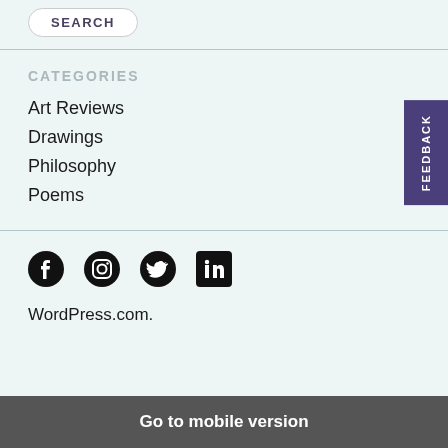SEARCH
CATEGORIES
Art Reviews
Drawings
Philosophy
Poems
[Figure (infographic): Social media icons: Facebook, Instagram, Twitter, LinkedIn]
WordPress.com.
Go to mobile version